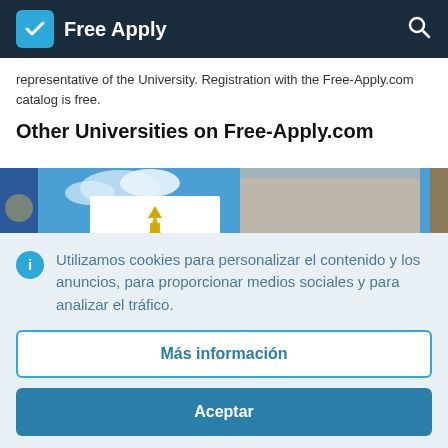Free Apply
representative of the University. Registration with the Free-Apply.com catalog is free.
Other Universities on Free-Apply.com
[Figure (photo): University building photos showing blue sky and architecture]
Utilizamos cookies para personalizar el contenido y los anuncios, para proporcionar medios sociales y para analizar el tráfico.
Más información
Aceptar